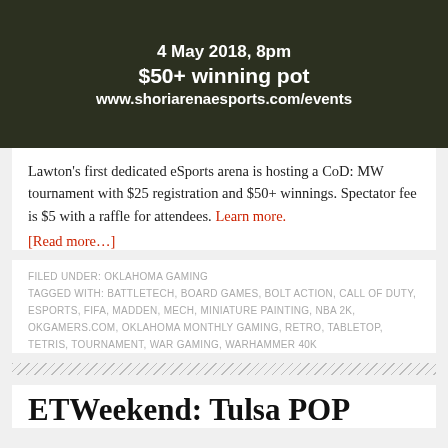[Figure (other): Dark banner image with text overlay: '4 May 2018, 8pm', '$50+ winning pot', 'www.shoriarenaesports.com/events']
Lawton's first dedicated eSports arena is hosting a CoD: MW tournament with $25 registration and $50+ winnings. Spectator fee is $5 with a raffle for attendees. Learn more. [Read more…]
FILED UNDER: OKLAHOMA GAMING
TAGGED WITH: BATTLETECH, BOARD GAMES, BOLT ACTION, CALL OF DUTY, ESPORTS, FIFA, MADDEN, MECH, MINIATURE PAINTING, NBA 2K, OKGAMERS.COM, OKLAHOMA MONTHLY GAMING, RETRO, TABLETOP, TETRIS, TOURNAMENT, WAR GAMING, WARHAMMER 40K
ETWeekend: Tulsa POP